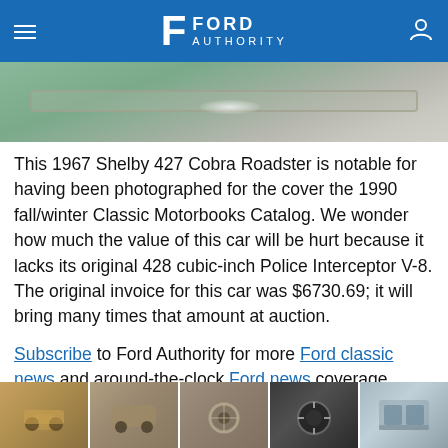FORD AUTHORITY
[Figure (photo): Partial view of a green 1967 Shelby 427 Cobra Roadster showing the side body and chrome trim detail]
This 1967 Shelby 427 Cobra Roadster is notable for having been photographed for the cover the 1990 fall/winter Classic Motorbooks Catalog. We wonder how much the value of this car will be hurt because it lacks its original 428 cubic-inch Police Interceptor V-8. The original invoice for this car was $6730.69; it will bring many times that amount at auction.
Subscribe to Ford Authority for more Ford classic news and around-the-clock Ford news coverage.
Source: Mecum
[Figure (photo): Strip of five thumbnail photos of the 1967 Shelby 427 Cobra Roadster showing various angles and details]